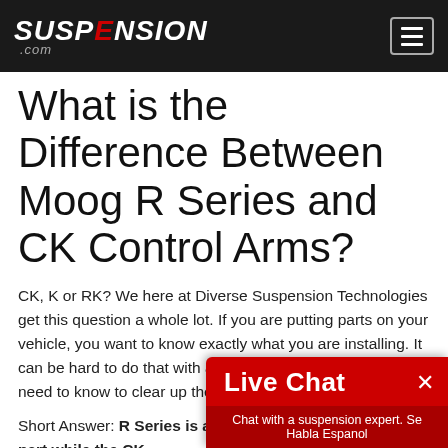SUSPENSION .com
What is the Difference Between Moog R Series and CK Control Arms?
CK, K or RK? We here at Diverse Suspension Technologies get this question a whole lot. If you are putting parts on your vehicle, you want to know exactly what you are installing. It can be hard to do that with all of these letter designations. need to know to clear up the co
Short Answer: R Series is a value-driven replacement part while the CK
[Figure (screenshot): Live Chat overlay widget in red with 'Live Chat' label, close X button, and subtitle 'Chat with a suspension expert. Se Habla Espanol']